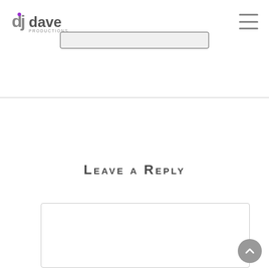DJ Dave Productions — navigation header with logo and hamburger menu
Leave a Reply